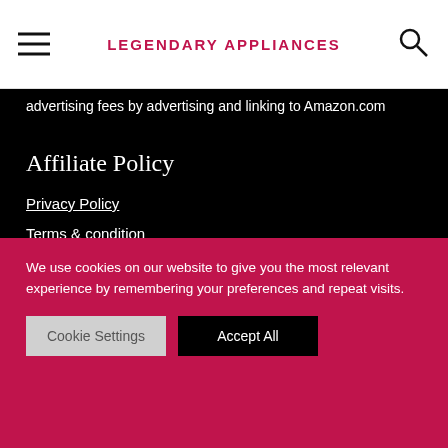LEGENDARY APPLIANCES
advertising fees by advertising and linking to Amazon.com
Affiliate Policy
Privacy Policy
Terms & condition
Affiliate Agreement
Return & Shipping Policy
We use cookies on our website to give you the most relevant experience by remembering your preferences and repeat visits.
Cookie Settings | Accept All